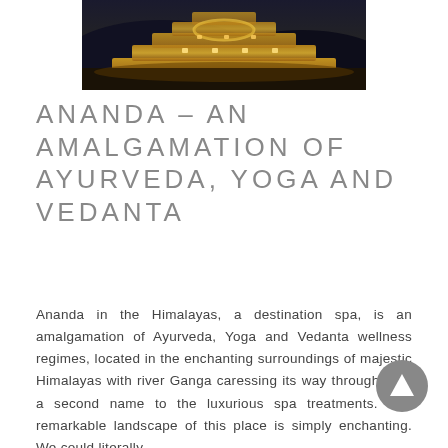[Figure (photo): Illuminated ancient stone structure or palace at night, lit with warm golden lights against a dark sky, appearing to be a historic Himalayan fort or palace.]
ANANDA – AN AMALGAMATION OF AYURVEDA, YOGA AND VEDANTA
Ananda in the Himalayas, a destination spa, is an amalgamation of Ayurveda, Yoga and Vedanta wellness regimes, located in the enchanting surroundings of majestic Himalayas with river Ganga caressing its way through. It is a second name to the luxurious spa treatments. The remarkable landscape of this place is simply enchanting. We could literally